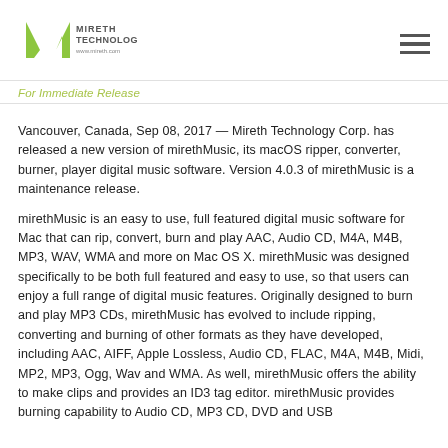[Figure (logo): Mireth Technology logo with green checkmark/M symbol and company name]
For Immediate Release
Vancouver, Canada, Sep 08, 2017 — Mireth Technology Corp. has released a new version of mirethMusic, its macOS ripper, converter, burner, player digital music software. Version 4.0.3 of mirethMusic is a maintenance release.
mirethMusic is an easy to use, full featured digital music software for Mac that can rip, convert, burn and play AAC, Audio CD, M4A, M4B, MP3, WAV, WMA and more on Mac OS X. mirethMusic was designed specifically to be both full featured and easy to use, so that users can enjoy a full range of digital music features. Originally designed to burn and play MP3 CDs, mirethMusic has evolved to include ripping, converting and burning of other formats as they have developed, including AAC, AIFF, Apple Lossless, Audio CD, FLAC, M4A, M4B, Midi, MP2, MP3, Ogg, Wav and WMA. As well, mirethMusic offers the ability to make clips and provides an ID3 tag editor. mirethMusic provides burning capability to Audio CD, MP3 CD, DVD and USB